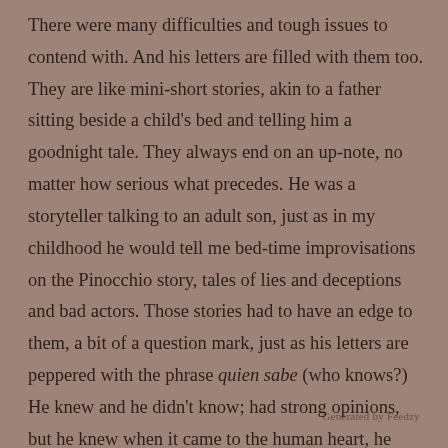There were many difficulties and tough issues to contend with. And his letters are filled with them too. They are like mini-short stories, akin to a father sitting beside a child's bed and telling him a goodnight tale. They always end on an up-note, no matter how serious what precedes. He was a storyteller talking to an adult son, just as in my childhood he would tell me bed-time improvisations on the Pinocchio story, tales of lies and deceptions and bad actors. Those stories had to have an edge to them, a bit of a question mark, just as his letters are peppered with the phrase quien sabe (who knows?) He knew and he didn't know; had strong opinions, but he knew when it came to the human heart, he didn't know it all. He respected the mystery and therefore had great empathy for individuals he encountered, and they sensed that in him.
Generated by Feedzy